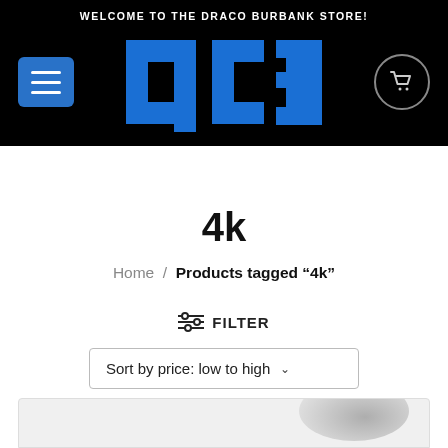WELCOME TO THE DRACO BURBANK STORE!
[Figure (logo): DC3 logo in blue on black background with hamburger menu button and shopping cart icon]
4k
Home / Products tagged "4k"
FILTER
Sort by price: low to high
[Figure (photo): Partially visible product image at bottom of page]